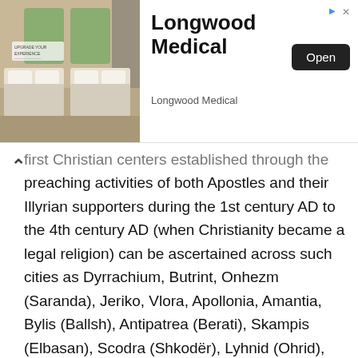[Figure (screenshot): Advertisement banner for Longwood Medical showing a hotel room with two beds. Contains the text 'Longwood Medical', an 'Open' button, and 'Longwood Medical' subtitle. Sponsored ad with close icon.]
first Christian centers established through the preaching activities of both Apostles and their Illyrian supporters during the 1st century AD to the 4th century AD (when Christianity became a legal religion) can be ascertained across such cities as Dyrrachium, Butrint, Onhezm (Saranda), Jeriko, Vlora, Apollonia, Amantia, Bylis (Ballsh), Antipatrea (Berati), Skampis (Elbasan), Scodra (Shkodër), Lyhnid (Ohrid), etc. Among mosaics and old church structures such as those in St. Nicholas's Church in Kurjan of Fier, Ballshi's basilica, etc., early Christian symbols are preserved, such as heart-shaped vegetation leaves (see Butrinti's mosaics and elsewhere), crucifix shapes in